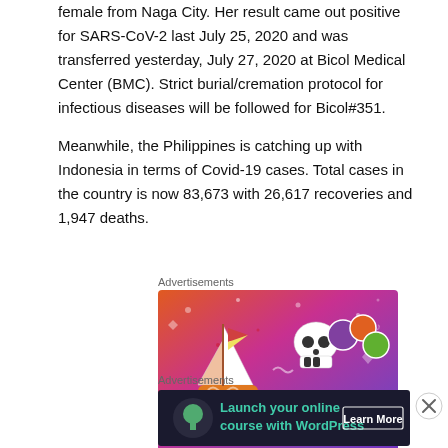female from Naga City. Her result came out positive for SARS-CoV-2 last July 25, 2020 and was transferred yesterday, July 27, 2020 at Bicol Medical Center (BMC). Strict burial/cremation protocol for infectious diseases will be followed for Bicol#351.
Meanwhile, the Philippines is catching up with Indonesia in terms of Covid-19 cases. Total cases in the country is now 83,673 with 26,617 recoveries and 1,947 deaths.
Advertisements
[Figure (illustration): Fandom advertisement banner with colorful gradient background (pink, purple, orange) featuring cartoon stickers including a sailboat, skull, and various decorative elements, with the word FANDOM in large black letters.]
Advertisements
[Figure (illustration): Dark-themed advertisement for WordPress online course. Shows a tree/mountain icon on left, text 'Launch your online course with WordPress' in teal, and 'Learn More' button on right.]